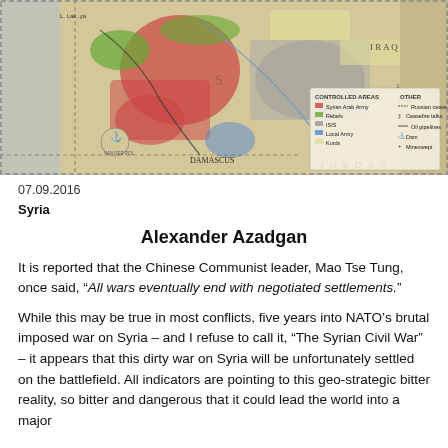[Figure (map): Map of Syria and surrounding region showing controlled areas with a legend indicating Syrian Arab Army, rebels, ISIS, local forces, Kurds, and other markers including cease-fire lines, oil pipelines, dams, and minefields.]
07.09.2016
Syria
Alexander Azadgan
It is reported that the Chinese Communist leader, Mao Tse Tung, once said, “All wars eventually end with negotiated settlements.”
While this may be true in most conflicts, five years into NATO’s brutal imposed war on Syria – and I refuse to call it, “The Syrian Civil War” – it appears that this dirty war on Syria will be unfortunately settled on the battlefield. All indicators are pointing to this geo-strategic bitter reality, so bitter and dangerous that it could lead the world into a major